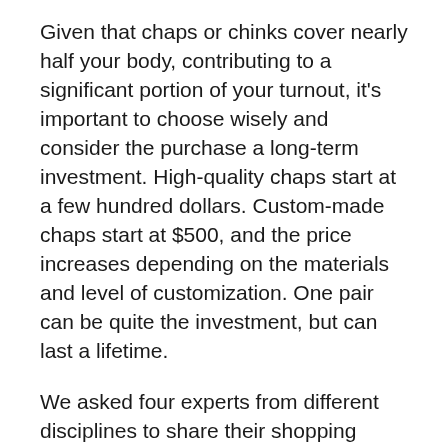Given that chaps or chinks cover nearly half your body, contributing to a significant portion of your turnout, it's important to choose wisely and consider the purchase a long-term investment. High-quality chaps start at a few hundred dollars. Custom-made chaps start at $500, and the price increases depending on the materials and level of customization. One pair can be quite the investment, but can last a lifetime.
We asked four experts from different disciplines to share their shopping advice to help you select your next pair of chaps or chinks, depending on what you do with your horse.
Trail Riding